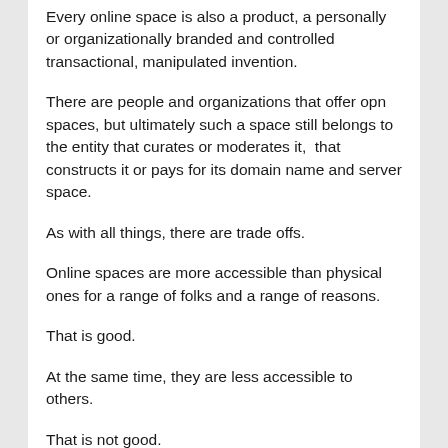Every online space is also a product, a personally or organizationally branded and controlled transactional, manipulated invention.
There are people and organizations that offer opn spaces, but ultimately such a space still belongs to the entity that curates or moderates it,  that constructs it or pays for its domain name and server space.
As with all things, there are trade offs.
Online spaces are more accessible than physical ones for a range of folks and a range of reasons.
That is good.
At the same time, they are less accessible to others.
That is not good.
And beyond the question of accessibility, they are still privately controlled. They produce and are a product of the